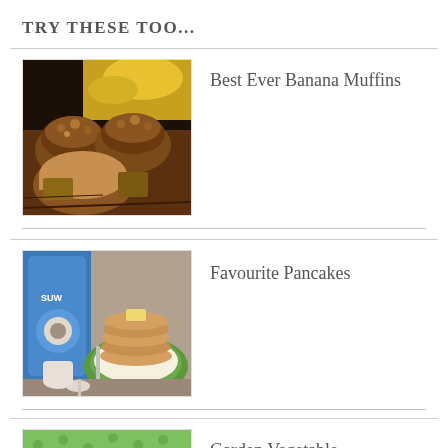TRY THESE TOO...
[Figure (photo): Photo of banana muffins with streusel topping on a wooden surface, with bananas in the background]
Best Ever Banana Muffins
[Figure (photo): Photo of a stack of pancakes on a green plate with butter on top, and a blue container in the background]
Favourite Pancakes
[Figure (photo): Partial photo of Garden Vegetable dish, image cut off at bottom]
Garden Vegetable